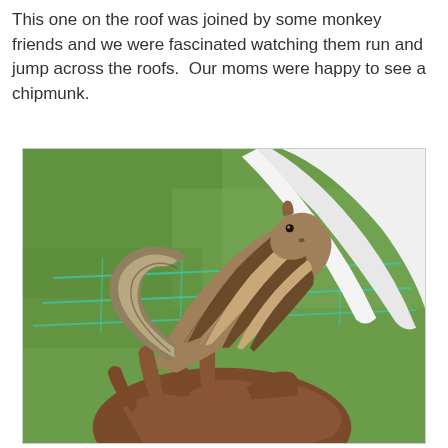This one on the roof was joined by some monkey friends and we were fascinated watching them run and jump across the roofs.  Our moms were happy to see a chipmunk.
[Figure (photo): A striped chipmunk (Indian palm squirrel) being held in a person's hand. The chipmunk has distinctive alternating dark brown and light tan/cream stripes running along its back. Its bushy tail curves upward. The background shows green grass and a teal/cyan wire fence.]